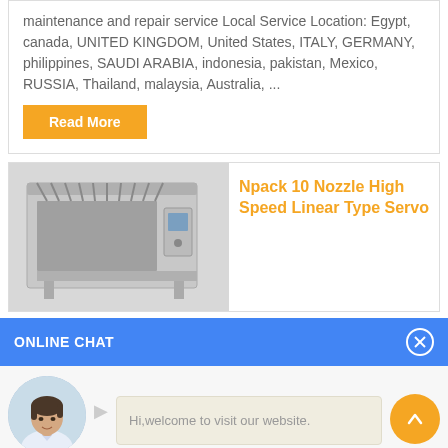maintenance and repair service Local Service Location: Egypt, canada, UNITED KINGDOM, United States, ITALY, GERMANY, philippines, SAUDI ARABIA, indonesia, pakistan, Mexico, RUSSIA, Thailand, malaysia, Australia, ...
Read More
Npack 10 Nozzle High Speed Linear Type Servo
[Figure (photo): Industrial filling machine with 10 nozzles, grey metallic frame, control panel on right side, multiple tubes visible]
ONLINE CHAT
[Figure (photo): Avatar of Cilina, a female customer service representative]
Cilina
Hi,welcome to visit our website.